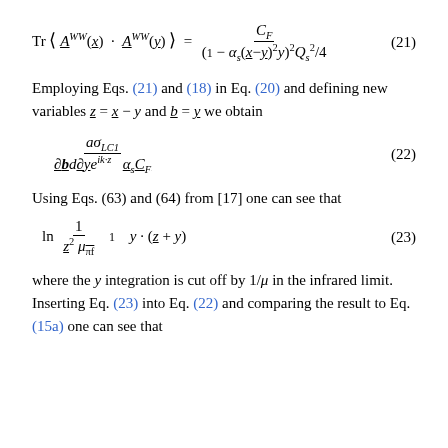Employing Eqs. (21) and (18) in Eq. (20) and defining new variables z = x − y and b = y we obtain
Using Eqs. (63) and (64) from [17] one can see that
where the y integration is cut off by 1/μ in the infrared limit. Inserting Eq. (23) into Eq. (22) and comparing the result to Eq. (15a) one can see that